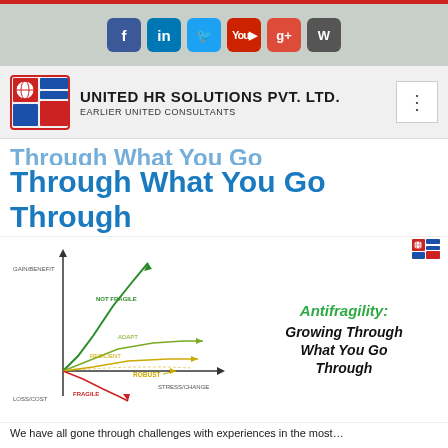[Figure (other): Social media icon bar with Facebook, LinkedIn, Twitter, YouTube, Google+, WordPress icons]
[Figure (logo): United HR Solutions Pvt. Ltd. logo with company name and tagline 'Earlier United Consultants']
Through What You Go Through
[Figure (infographic): Antifragility diagram showing GAIN/BENEFIT vs STRESS/CHANGE axes with curves for NOT FRAGILE, ADAPT, RESILIENT, ROBUST, and FRAGILE labeled, with LOSS/COST on negative y-axis]
Antifragility: Growing Through What You Go Through